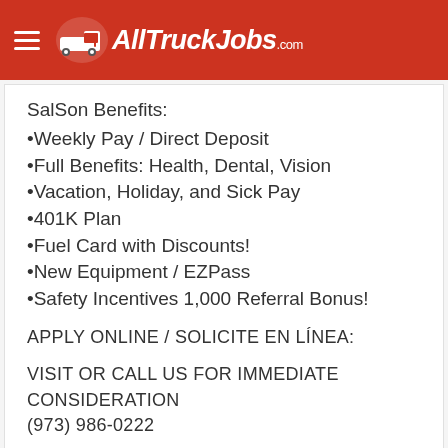AllTruckJobs.com
SalSon Benefits:
•Weekly Pay / Direct Deposit
•Full Benefits: Health, Dental, Vision
•Vacation, Holiday, and Sick Pay
•401K Plan
•Fuel Card with Discounts!
•New Equipment / EZPass
•Safety Incentives 1,000 Referral Bonus!
APPLY ONLINE / SOLICITE EN LÍNEA:
VISIT OR CALL US FOR IMMEDIATE CONSIDERATION (973) 986-0222